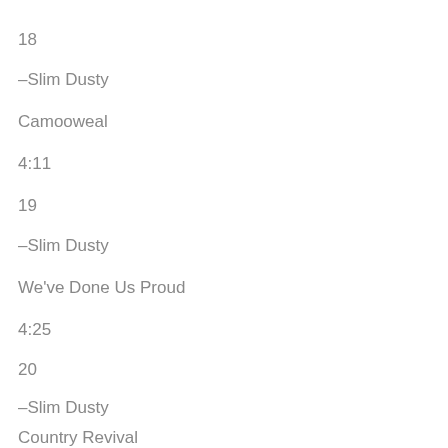18
–Slim Dusty
Camooweal
4:11
19
–Slim Dusty
We've Done Us Proud
4:25
20
–Slim Dusty
Country Revival